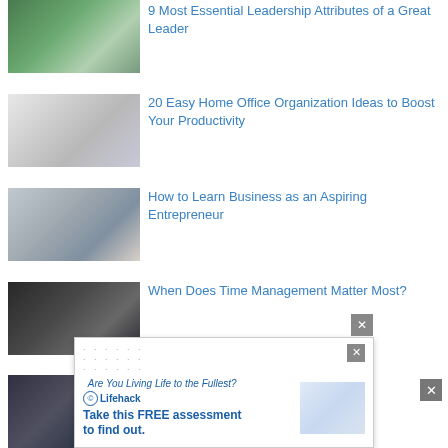[Figure (photo): Professional man in suit sitting outdoors with greenery background]
9 Most Essential Leadership Attributes of a Great Leader
[Figure (photo): Home office setup with monitor, laptop, lamp and plants on desk]
20 Easy Home Office Organization Ideas to Boost Your Productivity
[Figure (photo): Woman sitting in chair reading a book near a window]
How to Learn Business as an Aspiring Entrepreneur
[Figure (photo): Close-up of person wearing watch, blurred newspaper in background]
When Does Time Management Matter Most?
[Figure (photo): Partial view of fifth article thumbnail]
5 Distinct Characteristics of an
[Figure (screenshot): Lifehack advertisement banner: Are You Living Life to the Fullest? Take this FREE assessment to find out.]